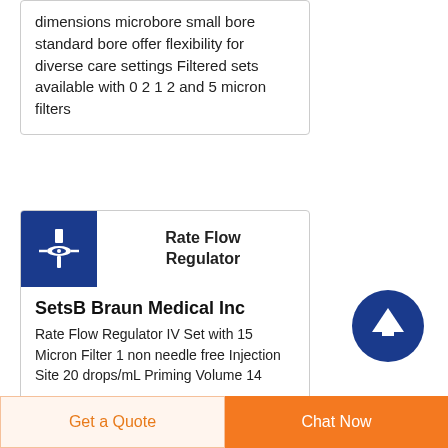dimensions microbore small bore standard bore offer flexibility for diverse care settings Filtered sets available with 0 2 1 2 and 5 micron filters
[Figure (logo): Blue square logo with a white IV drip regulator / flow control icon]
Rate Flow Regulator Sets
B Braun Medical Inc
Rate Flow Regulator IV Set with 15 Micron Filter 1 non needle free Injection Site 20 drops/mL Priming Volume 14
[Figure (illustration): Dark blue circle with white upward-pointing arrow icon (scroll to top / back to top button)]
Get a Quote
Chat Now